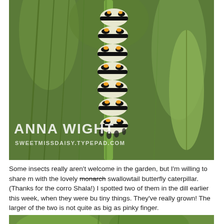[Figure (photo): Close-up photograph of a swallowtail butterfly caterpillar with black, white, and yellow/orange stripes clinging to a green plant stem (dill). Watermark text 'ANNA WIGHT' and 'SweetMissDaisy.Typepad.com' overlaid in white on the lower left.]
Some insects really aren't welcome in the garden, but I'm willing to share my with the lovely monarch swallowtail butterfly caterpillar. (Thanks for the corre Shala!) I spotted two of them in the dill earlier this week, when they were bu tiny things. They've really grown! The larger of the two is not quite as big as pinky finger.
[Figure (photo): Partial view of a second photo at the bottom of the page, showing green plant foliage.]